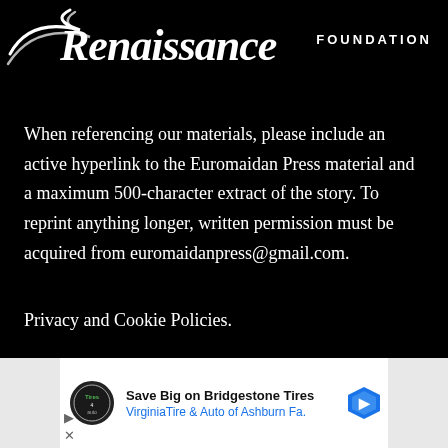[Figure (logo): Renaissance Foundation logo — stylized cursive text with swash marks in white on black, with 'FOUNDATION' in spaced bold capitals to the right]
When referencing our materials, please include an active hyperlink to the Euromaidan Press material and a maximum 500-character extract of the story. To reprint anything longer, written permission must be acquired from euromaidanpress@gmail.com.
Privacy and Cookie Policies.
[Figure (screenshot): Advertisement banner: 'Save Big on Bridgestone Tires' with Virginia Tire & Auto of Ashburn Fa. logo and navigation arrow icon]